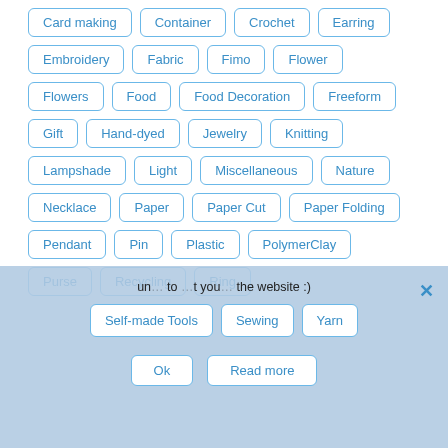Card making
Container
Crochet
Earring
Embroidery
Fabric
Fimo
Flower
Flowers
Food
Food Decoration
Freeform
Gift
Hand-dyed
Jewelry
Knitting
Lampshade
Light
Miscellaneous
Nature
Necklace
Paper
Paper Cut
Paper Folding
Pendant
Pin
Plastic
PolymerClay
Purse
Recycling
Ring
Self-made Tools
Sewing
Yarn
use the website :)
Ok
Read more